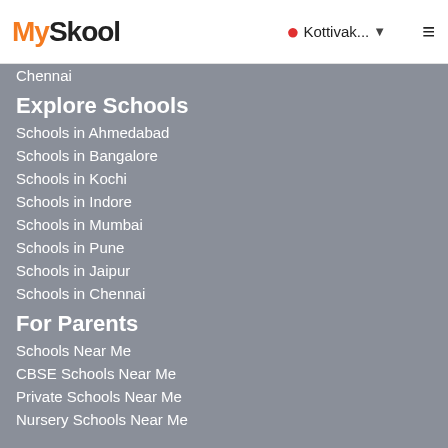MySkool — Kottivak... ☰
Chennai
Explore Schools
Schools in Ahmedabad
Schools in Bangalore
Schools in Kochi
Schools in Indore
Schools in Mumbai
Schools in Pune
Schools in Jaipur
Schools in Chennai
For Parents
Schools Near Me
CBSE Schools Near Me
Private Schools Near Me
Nursery Schools Near Me
Company & Policy
About Us
Contact Us
Privacy Policy
Terms of Use
Blogs
Add School